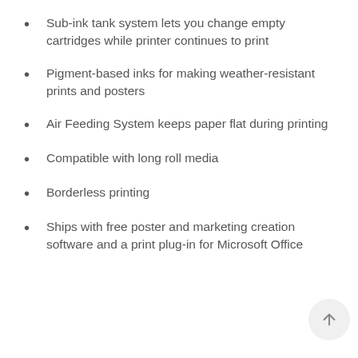Sub-ink tank system lets you change empty cartridges while printer continues to print
Pigment-based inks for making weather-resistant prints and posters
Air Feeding System keeps paper flat during printing
Compatible with long roll media
Borderless printing
Ships with free poster and marketing creation software and a print plug-in for Microsoft Office